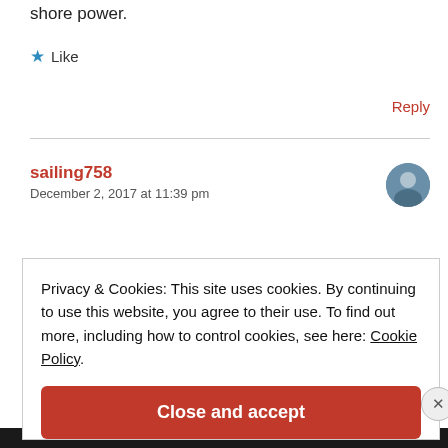shore power.
★ Like
Reply
sailing758
December 2, 2017 at 11:39 pm
Privacy & Cookies: This site uses cookies. By continuing to use this website, you agree to their use. To find out more, including how to control cookies, see here: Cookie Policy
Close and accept